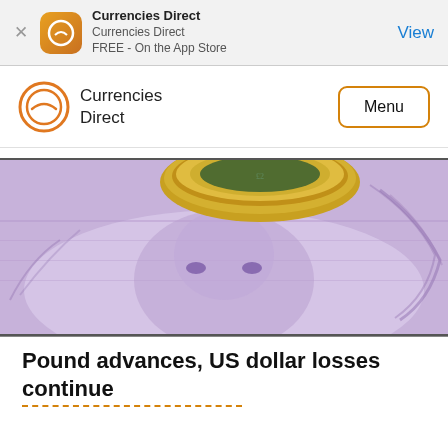Currencies Direct
Currencies Direct
FREE - On the App Store
View
[Figure (logo): Currencies Direct logo with orange circular icon and text 'Currencies Direct']
Menu
[Figure (photo): Close-up photo of a British pound banknote showing the Queen's portrait and a gold coin on top]
Pound advances, US dollar losses continue